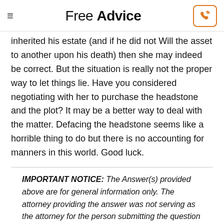Free Advice
inherited his estate (and if he did not Will the asset to another upon his death) then she may indeed be correct. But the situation is really not the proper way to let things lie. Have you considered negotiating with her to purchase the headstone and the plot?  It may be a better way to deal with the matter.  Defacing the headstone seems like a horrible thing to do but there is no accounting for manners in this world.  Good luck.
IMPORTANT NOTICE: The Answer(s) provided above are for general information only. The attorney providing the answer was not serving as the attorney for the person submitting the question or in any attorney-client relationship with such person.